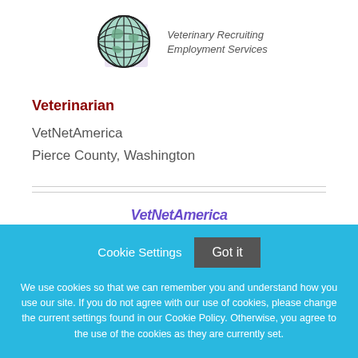[Figure (logo): Globe illustration with text 'Veterinary Recruiting Employment Services' in italic]
Veterinarian
VetNetAmerica
Pierce County, Washington
[Figure (logo): Partial VetNetAmerica logo text in italic purple]
Cookie Settings   Got it
We use cookies so that we can remember you and understand how you use our site. If you do not agree with our use of cookies, please change the current settings found in our Cookie Policy. Otherwise, you agree to the use of the cookies as they are currently set.